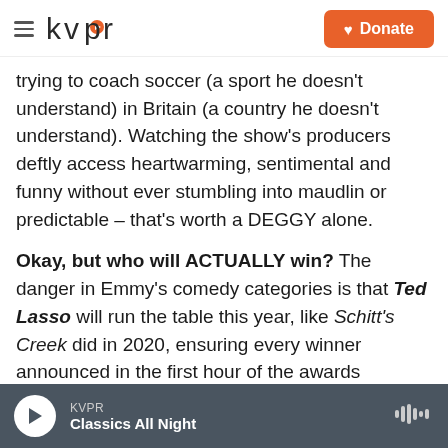kvpr | Donate
trying to coach soccer (a sport he doesn't understand) in Britain (a country he doesn't understand). Watching the show's producers deftly access heartwarming, sentimental and funny without ever stumbling into maudlin or predictable – that's worth a DEGGY alone.
Okay, but who will ACTUALLY win? The danger in Emmy's comedy categories is that Ted Lasso will run the table this year, like Schitt's Creek did in 2020, ensuring every winner announced in the first hour of the awards ceremony was from one show. Here's hoping the academy at least put some
KVPR | Classics All Night